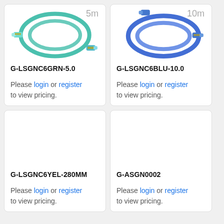[Figure (photo): Green network patch cable (5m) coiled, with RJ45 connectors at both ends]
G-LSGNC6GRN-5.0
Please login or register to view pricing.
[Figure (photo): Blue network patch cable (10m) coiled, with RJ45 connectors at both ends]
G-LSGNC6BLU-10.0
Please login or register to view pricing.
G-LSGNC6YEL-280MM
Please login or register to view pricing.
G-ASGN0002
Please login or register to view pricing.